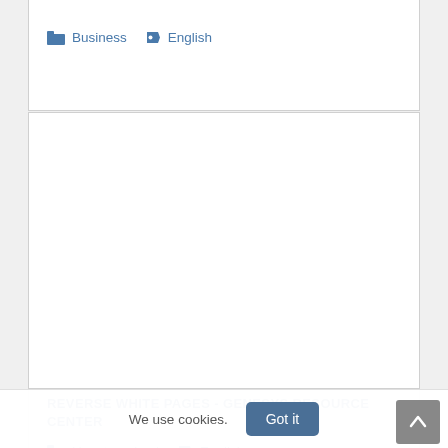Business  English
[Figure (screenshot): White blank area inside a bordered card, representing a document preview or advertisement space]
REVERSE WHITE PAGES - GENESYS RESOURCE CENTER
Uncategorized  English
We use cookies.
Got it